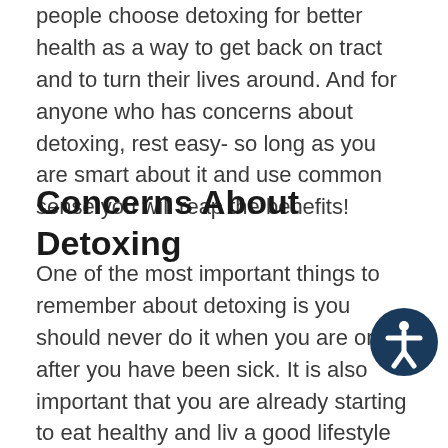people choose detoxing for better health as a way to get back on tract and to turn their lives around. And for anyone who has concerns about detoxing, rest easy- so long as you are smart about it and use common sense you will reap the benefits!
Concerns About Detoxing
One of the most important things to remember about detoxing is you should never do it when you are or after you have been sick. It is also important that you are already starting to eat healthy and liv a good lifestyle that supports a detox regiment. If you fail to do this the body can become overwhelmed from the sudden influx of detoxing it is being forced to do. Also, if your body is already weakened from illness or a poor lifestyle you will not be able to adequately detox the harmful elements from your body. Embrace good lifestyle choices, uses common sense, and work up to a